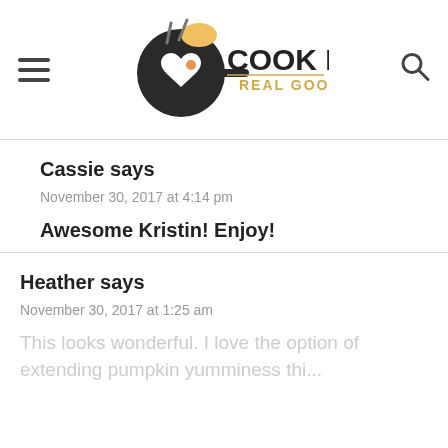Cook It Real Good
Cassie says
November 30, 2017 at 4:14 pm
Awesome Kristin! Enjoy!
Heather says
November 30, 2017 at 1:25 am
This looks wonderful. I love the option of extending pumpkin yumminess thi...